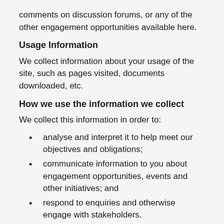comments on discussion forums, or any of the other engagement opportunities available here.
Usage Information
We collect information about your usage of the site, such as pages visited, documents downloaded, etc.
How we use the information we collect
We collect this information in order to:
analyse and interpret it to help meet our objectives and obligations;
communicate information to you about engagement opportunities, events and other initiatives; and
respond to enquiries and otherwise engage with stakeholders.
External links
Our website may contain links to other websites. Those